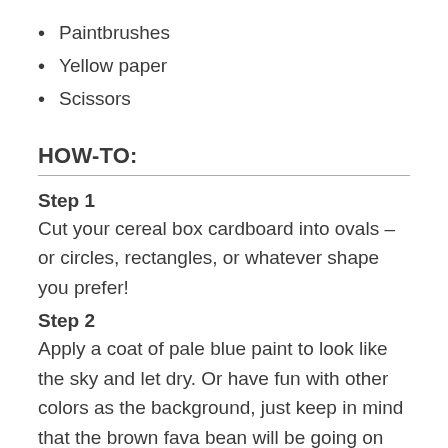Paintbrushes
Yellow paper
Scissors
HOW-TO:
Step 1
Cut your cereal box cardboard into ovals – or circles, rectangles, or whatever shape you prefer!
Step 2
Apply a coat of pale blue paint to look like the sky and let dry. Or have fun with other colors as the background, just keep in mind that the brown fava bean will be going on top, so you'll want some contrast. Let dry.
Step 3